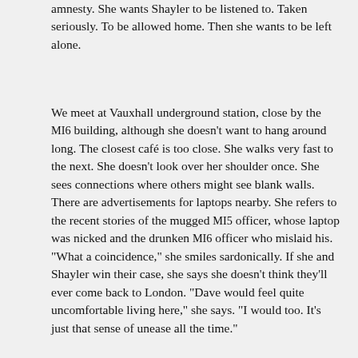amnesty. She wants Shayler to be listened to. Taken seriously. To be allowed home. Then she wants to be left alone.
We meet at Vauxhall underground station, close by the MI6 building, although she doesn't want to hang around long. The closest café is too close. She walks very fast to the next. She doesn't look over her shoulder once. She sees connections where others might see blank walls. There are advertisements for laptops nearby. She refers to the recent stories of the mugged MI5 officer, whose laptop was nicked and the drunken MI6 officer who mislaid his. "What a coincidence," she smiles sardonically. If she and Shayler win their case, she says she doesn't think they'll ever come back to London. "Dave would feel quite uncomfortable living here," she says. "I would too. It's just that sense of unease all the time."